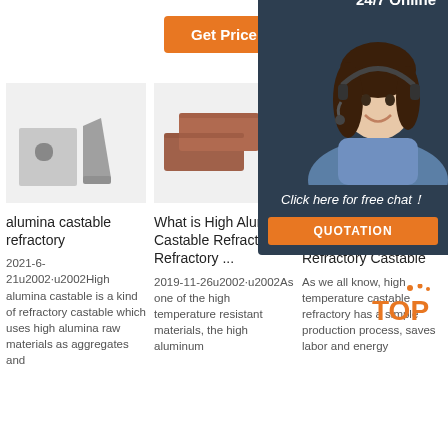[Figure (other): Orange 'Get Price' button]
[Figure (photo): Alumina castable refractory product - cube with hole and triangular piece]
alumina castable refractory
2021-6-21u2002·u2002High alumina castable is a kind of refractory castable which uses high alumina raw materials as aggregates and
[Figure (photo): High alumina castable refractory bricks - two brown/red bricks]
What is High Alumina Castable Refractory - Refractory ...
2019-11-26u2002·u2002As one of the high temperature resistant materials, the high aluminum
[Figure (photo): High temperature castable refractory - grey cube]
Class of High Temperature Refractory Castable
As we all know, high temperature castable refractory has a simple production process, saves labor and energy
[Figure (other): 24/7 Online chat widget with customer service representative overlay, Click here for free chat!, QUOTATION button, and TOP logo]